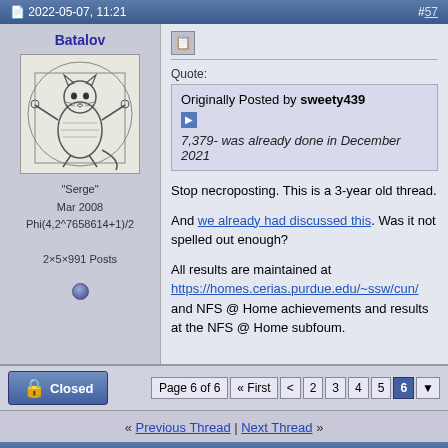2022-05-07, 11:21  #57
Batalov
[Figure (illustration): Avatar image showing a cat drawn in the style of Vitruvian Man, pencil sketch with circle and square geometry]
"Serge"
Mar 2008
Phi(4,2^7658614+1)/2
2×5×991 Posts
Quote:
Originally Posted by sweety439
7,379- was already done in December 2021
Stop necroposting. This is a 3-year old thread.

And we already had discussed this. Was it not spelled out enough?

All results are maintained at https://homes.cerias.purdue.edu/~ssw/cun/ and NFS @ Home achievements and results at the NFS @ Home subfoum.
Closed  Page 6 of 6  « First  <  2  3  4  5  6
« Previous Thread | Next Thread »